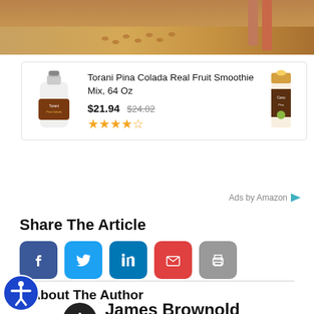[Figure (photo): Desert/sand scene with footprints, partial view of person]
[Figure (other): Amazon product ad: Torani Pina Colada Real Fruit Smoothie Mix 64 Oz, price $21.94 (was $24.02), 4.5 star rating]
Torani Pina Colada Real Fruit Smoothie Mix, 64 Oz
$21.94 $24.02
Ads by Amazon
Share The Article
About The Author
James Brownold